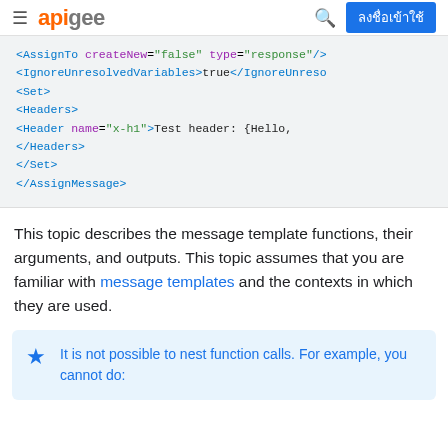apigee | ลงชื่อเข้าใช้
[Figure (screenshot): Code block showing XML snippet: <AssignTo createNew="false" type="response"/> <IgnoreUnresolvedVariables>true</IgnoreUnresolvedVariables> <Set> <Headers> <Header name="x-h1">Test header: {Hello, </Header> </Headers> </Set> </AssignMessage>]
This topic describes the message template functions, their arguments, and outputs. This topic assumes that you are familiar with message templates and the contexts in which they are used.
It is not possible to nest function calls. For example, you cannot do: